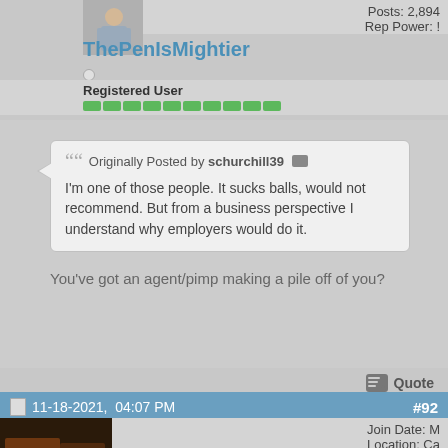Posts: 2,894
Rep Power: !
ThePenIsMightier
Registered User
Originally Posted by schurchill39
I'm one of those people. It sucks balls, would not recommend. But from a business perspective I understand why employers would do it.
You've got an agent/pimp making a pile off of you?
Quote
11-18-2021, 04:07 PM  #92
Join Date: M
Location: Ca
My Ride: For